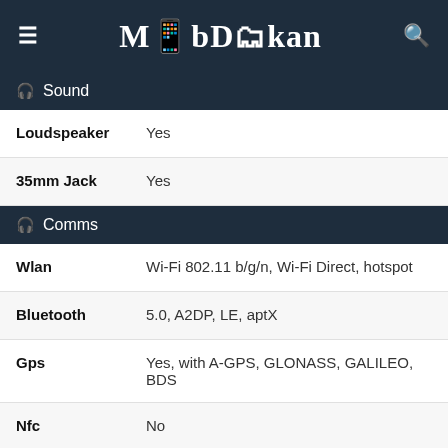MobDokan
Sound
| Feature | Value |
| --- | --- |
| Loudspeaker | Yes |
| 35mm Jack | Yes |
Comms
| Feature | Value |
| --- | --- |
| Wlan | Wi-Fi 802.11 b/g/n, Wi-Fi Direct, hotspot |
| Bluetooth | 5.0, A2DP, LE, aptX |
| Gps | Yes, with A-GPS, GLONASS, GALILEO, BDS |
| Nfc | No |
| Radio | Unspecified |
| Usb | microUSB 2.0, USB On-The-Go |